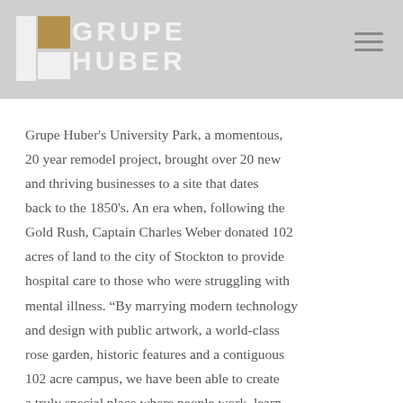GRUPE HUBER
entire neighborhood. It is important to consider the history of the land, its existing tenants, and the overarching needs of the community in order to make a historic remodel successful.

Grupe Huber's University Park, a momentous, 20 year remodel project, brought over 20 new and thriving businesses to a site that dates back to the 1850's. An era when, following the Gold Rush, Captain Charles Weber donated 102 acres of land to the city of Stockton to provide hospital care to those who were struggling with mental illness. "By marrying modern technology and design with public artwork, a world-class rose garden, historic features and a contiguous 102 acre campus, we have been able to create a truly special place where people work, learn